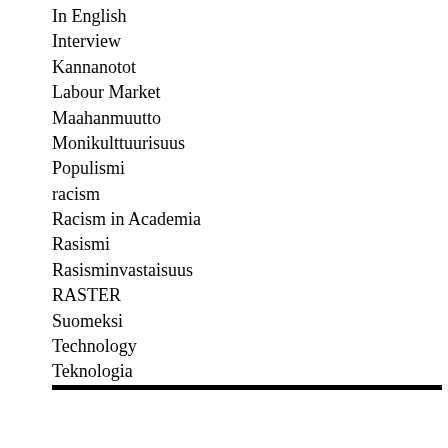In English
Interview
Kannanotot
Labour Market
Maahanmuutto
Monikulttuurisuus
Populismi
racism
Racism in Academia
Rasismi
Rasisminvastaisuus
RASTER
Suomeksi
Technology
Teknologia